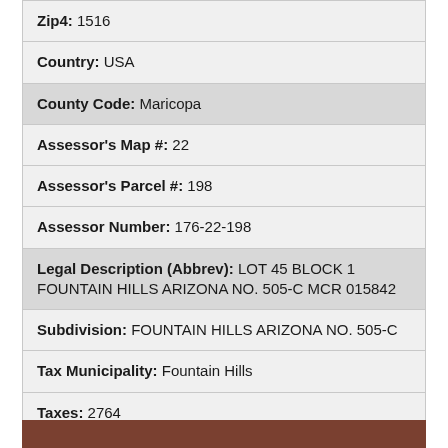| Field | Value |
| --- | --- |
| Zip4 | 1516 |
| Country | USA |
| County Code | Maricopa |
| Assessor's Map # | 22 |
| Assessor's Parcel # | 198 |
| Assessor Number | 176-22-198 |
| Legal Description (Abbrev) | LOT 45 BLOCK 1 FOUNTAIN HILLS ARIZONA NO. 505-C MCR 015842 |
| Subdivision | FOUNTAIN HILLS ARIZONA NO. 505-C |
| Tax Municipality | Fountain Hills |
| Taxes | 2764 |
| Tax Year | 2021 |